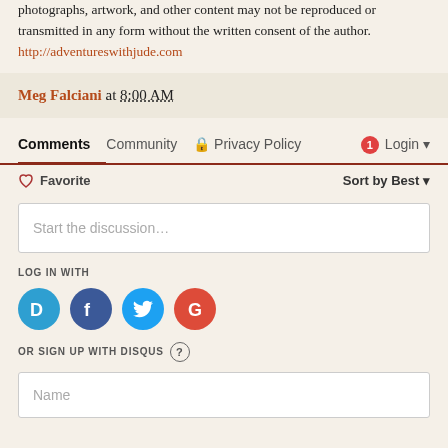photographs, artwork, and other content may not be reproduced or transmitted in any form without the written consent of the author. http://adventureswithjude.com
Meg Falciani at 8:00 AM
Comments  Community  Privacy Policy  Login
Favorite  Sort by Best
Start the discussion…
LOG IN WITH
[Figure (infographic): Social login icons: Disqus (blue), Facebook (dark blue), Twitter (light blue), Google (red)]
OR SIGN UP WITH DISQUS ?
Name